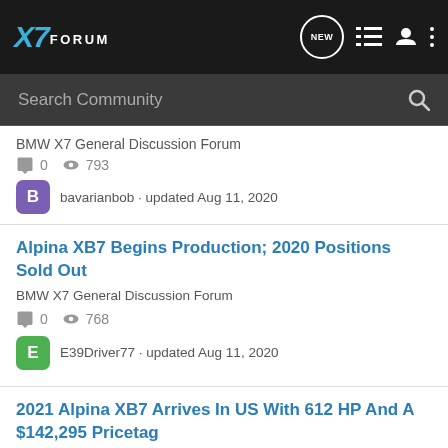X7 FORUM
BMW X7 General Discussion Forum
0  793
bavarianbob · updated Aug 11, 2020
Alpina XB7 Begins Production; 2020 Positions Sold Out
BMW X7 General Discussion Forum
0  768
E39Driver77 · updated Aug 11, 2020
2021 Alpina XB7 Arrives In US With 612 HP And A $142,295 Pricetag